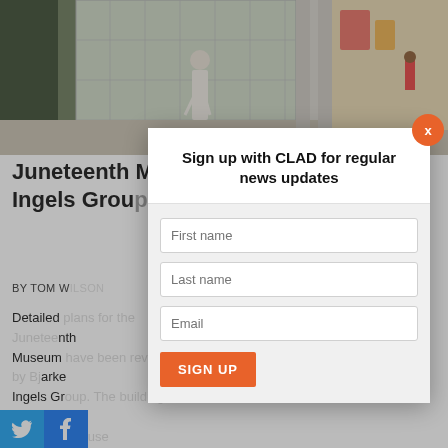[Figure (photo): Exterior architectural photo of a modern museum building with glass facade, a woman in white dress walking, and colorful murals visible on the right side.]
Juneteenth Museum by Bjarke Ingels Group ... spirit...
BY TOM W...
Detailed ... nth Museum ... Bjarke Ingels Gr... anchor a larger mi... Fort Worth. It... on General C... laring that "all s...
[Figure (screenshot): Modal popup: Sign up with CLAD for regular news updates, with First name, Last name, Email fields and a SIGN UP button. Orange X close button in top right.]